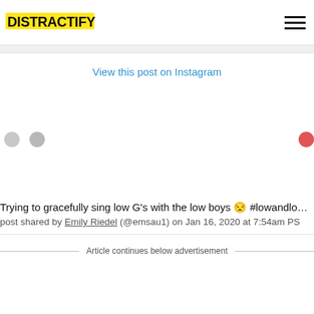DISTRACTIFY
View this post on Instagram
Trying to gracefully sing low G's with the low boys 😐 #lowandlower
post shared by Emily Riedel (@emsau1) on Jan 16, 2020 at 7:54am PS
Article continues below advertisement